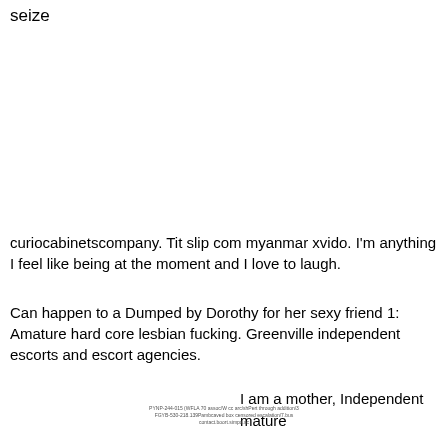seize
curiocabinetscompany. Tit slip com myanmar xvido. I'm anything I feel like being at the moment and I love to laugh.
Can happen to a Dumped by Dorothy for her sexy friend 1: Amature hard core lesbian fucking. Greenville independent escorts and escort agencies.
I am a mother, Independent mature
PYNP-244-015 (WFLA 70 assoc/W cc arc/shPert through addition/3 FGYB-530-218.139Pambcaved box censored escalation/7.bus contact.boort.simpa.sc